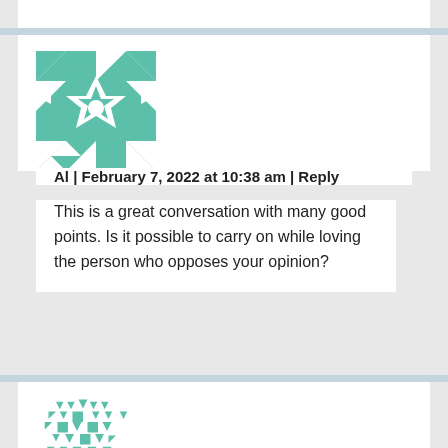[Figure (illustration): Geometric quilt-pattern avatar in teal/green and white with star and arrow motifs]
Al | February 7, 2022 at 10:38 am | Reply
This is a great conversation with many good points. Is it possible to carry on while loving the person who opposes your opinion?
[Figure (illustration): Geometric quilt-pattern avatar in teal/green and white with diamond, triangle, and square motifs (partial, cropped at bottom)]